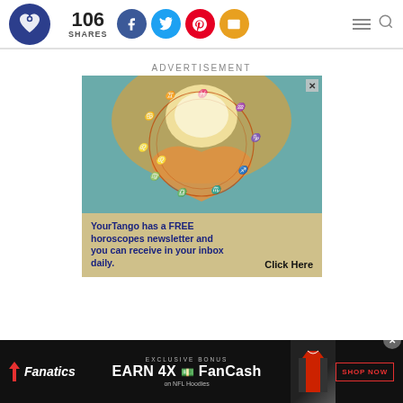[Figure (logo): YourTango website header with logo (heart in circle), 106 shares count, social media icons (Facebook, Twitter, Pinterest, Email), hamburger menu and search icon]
ADVERTISEMENT
[Figure (photo): Advertisement for YourTango free horoscopes newsletter. Image shows hands forming a heart shape with zodiac wheel overlay. Text: 'YourTango has a FREE horoscopes newsletter and you can receive in your inbox daily. Click Here']
[Figure (infographic): Fanatics bottom banner ad. EXCLUSIVE BONUS. EARN 4X FanCash on NFL Hoodies. SHOP NOW button. Shows a red/black hoodie image.]